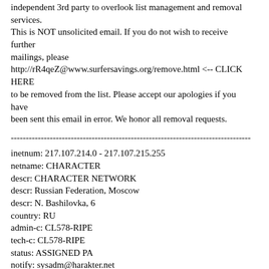independent 3rd party to overlook list management and removal services.
This is NOT unsolicited email. If you do not wish to receive further
mailings, please
http://rR4qeZ@www.surfersavings.org/remove.html <-- CLICK HERE
to be removed from the list. Please accept our apologies if you have
been sent this email in error. We honor all removal requests.
--------------------------------------------------------------------------------
inetnum: 217.107.214.0 - 217.107.215.255
netname: CHARACTER
descr: CHARACTER NETWORK
descr: Russian Federation, Moscow
descr: N. Bashilovka, 6
country: RU
admin-c: CL578-RIPE
tech-c: CL578-RIPE
status: ASSIGNED PA
notify: sysadm@harakter.net
notify: registry@rt.ru
mnt-by: AS8342-MNT
changed: ru@rt.ru 20020628